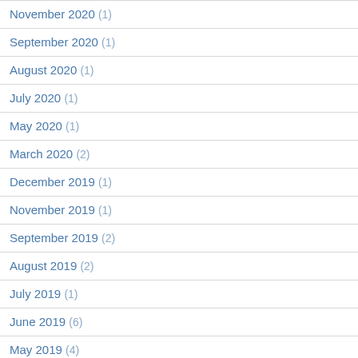November 2020 (1)
September 2020 (1)
August 2020 (1)
July 2020 (1)
May 2020 (1)
March 2020 (2)
December 2019 (1)
November 2019 (1)
September 2019 (2)
August 2019 (2)
July 2019 (1)
June 2019 (6)
May 2019 (4)